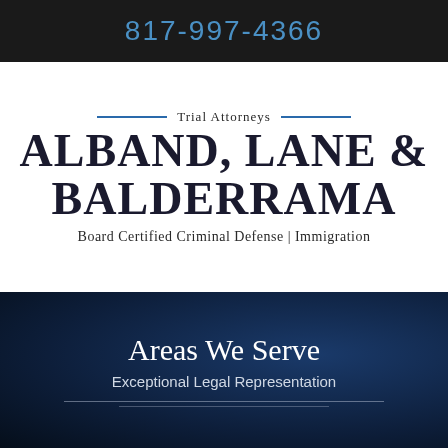817-997-4366
Trial Attorneys
ALBAND, LANE & BALDERRAMA
Board Certified Criminal Defense | Immigration
Areas We Serve
Exceptional Legal Representation
Areas We S